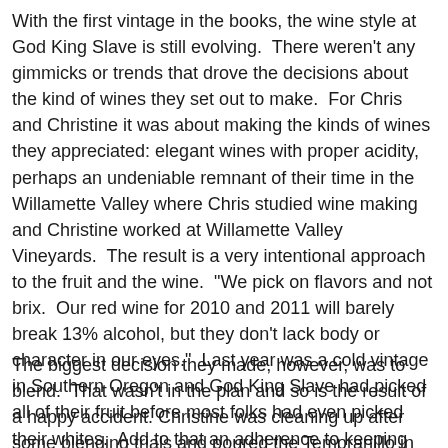With the first vintage in the books, the wine style at God King Slave is still evolving.  There weren't any gimmicks or trends that drove the decisions about the kind of wines they set out to make.  For Chris and Christine it was about making the kinds of wines they appreciated: elegant wines with proper acidity, perhaps an undeniable remnant of their time in the Willamette Valley where Chris studied wine making and Christine worked at Willamette Valley Vineyards.  The result is a very intentional approach to the fruit and the wine.  "We pick on flavors and not brix.  Our red wine for 2010 and 2011 will barely break 13% alcohol, but they don't lack body or character in our eyes."  Last year was a cold vintage in Southern Oregon and God King Slave had picked all of their fruit before most folks had even picked their whites.  Add to that an adherence to keeping the wood from clobbering the fruit and you have a very neutral oak regiment and a wine that offers a stylistic nod to the Old World.
The biggest decision they made, however, was to blend.  That wasn't in the plan and so is the result of a happy accident. Christine was cleaning up after some blending trials and poured the Tempranillo in with her Syrah. When